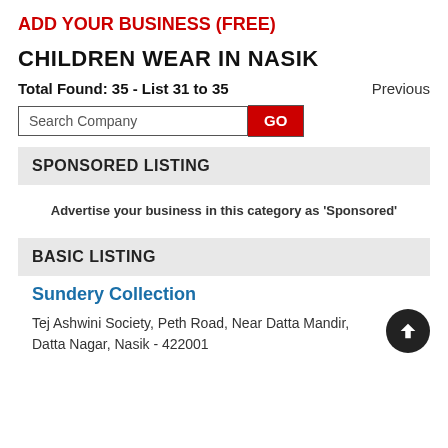ADD YOUR BUSINESS (FREE)
CHILDREN WEAR IN NASIK
Total Found: 35 - List 31 to 35
Previous
Search Company GO
SPONSORED LISTING
Advertise your business in this category as 'Sponsored'
BASIC LISTING
Sundery Collection
Tej Ashwini Society, Peth Road, Near Datta Mandir, Datta Nagar, Nasik - 422001